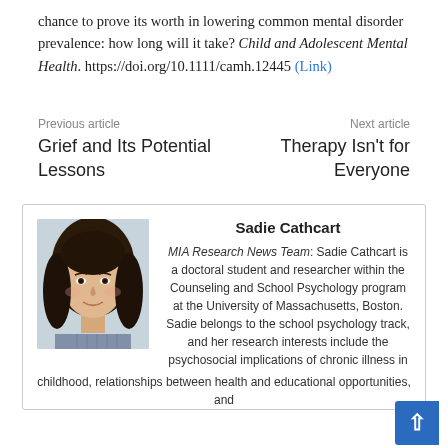chance to prove its worth in lowering common mental disorder prevalence: how long will it take? Child and Adolescent Mental Health. https://doi.org/10.1111/camh.12445 (Link)
Previous article
Grief and Its Potential Lessons
Next article
Therapy Isn't for Everyone
[Figure (photo): Headshot photo of Sadie Cathcart, a young woman with long dark hair, smiling, wearing a striped shirt, against a light background.]
Sadie Cathcart
MIA Research News Team: Sadie Cathcart is a doctoral student and researcher within the Counseling and School Psychology program at the University of Massachusetts, Boston. Sadie belongs to the school psychology track, and her research interests include the psychosocial implications of chronic illness in childhood, relationships between health and educational opportunities, and